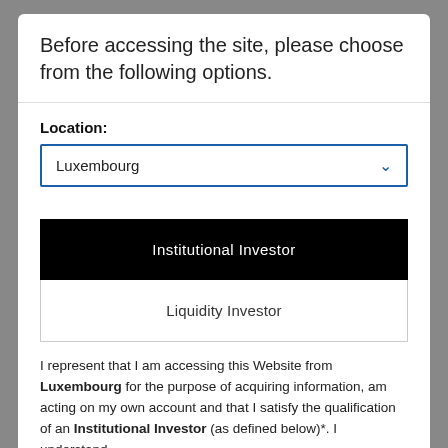Before accessing the site, please choose from the following options.
Location:
Luxembourg
Institutional Investor
Liquidity Investor
I represent that I am accessing this Website from Luxembourg for the purpose of acquiring information, am acting on my own account and that I satisfy the qualification of an Institutional Investor (as defined below)*. I understand